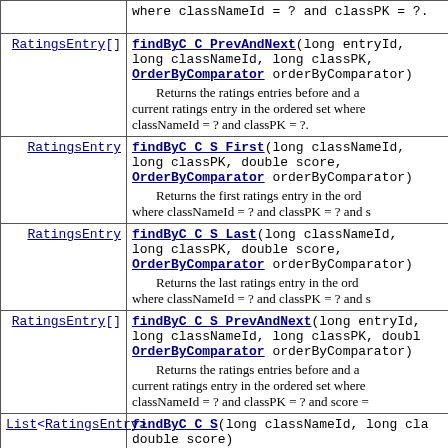| Return Type | Method and Description |
| --- | --- |
|  | where classNameId = ? and classPK = ?. |
| RatingsEntry[] | findByC_C_PrevAndNext(long entryId, long classNameId, long classPK, OrderByComparator orderByComparator)
 Returns the ratings entries before and after the current ratings entry in the ordered set where classNameId = ? and classPK = ?. |
| RatingsEntry | findByC_C_S_First(long classNameId, long classPK, double score, OrderByComparator orderByComparator)
 Returns the first ratings entry in the ordered set where classNameId = ? and classPK = ? and s |
| RatingsEntry | findByC_C_S_Last(long classNameId, long classPK, double score, OrderByComparator orderByComparator)
 Returns the last ratings entry in the ordered set where classNameId = ? and classPK = ? and s |
| RatingsEntry[] | findByC_C_S_PrevAndNext(long entryId, long classNameId, long classPK, double..., OrderByComparator orderByComparator)
 Returns the ratings entries before and after the current ratings entry in the ordered set where classNameId = ? and classPK = ? and score = |
| List<RatingsEntry> | findByC_C_S(long classNameId, long cla..., double score) |